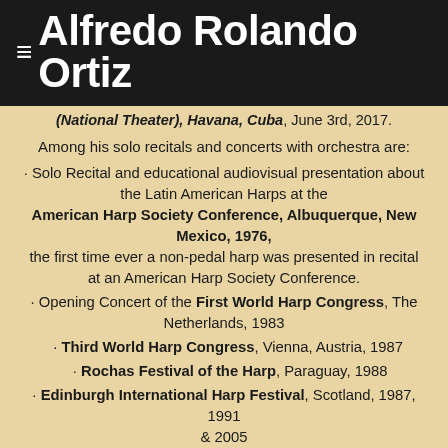≡ Alfredo Rolando Ortiz
(National Theater), Havana, Cuba, June 3rd, 2017.
Among his solo recitals and concerts with orchestra are:
· Solo Recital and educational audiovisual presentation about the Latin American Harps at the American Harp Society Conference, Albuquerque, New Mexico, 1976, the first time ever a non-pedal harp was presented in recital at an American Harp Society Conference.
· Opening Concert of the First World Harp Congress, The Netherlands, 1983
· Third World Harp Congress, Vienna, Austria, 1987
· Rochas Festival of the Harp, Paraguay, 1988
· Edinburgh International Harp Festival, Scotland, 1987, 1991 & 2005
· World Harp Festival, Belfast, Northern Ireland, 1992
· World Harp Congress, Prague, Czech Republic, 1999, where he performed his